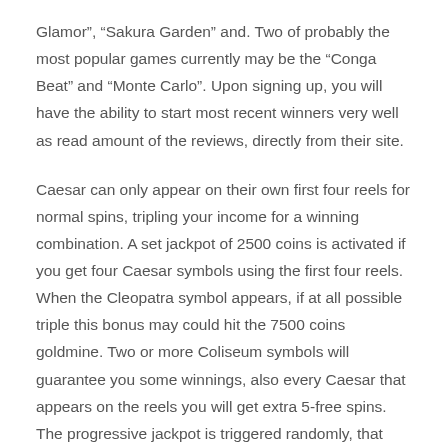Glamor”, “Sakura Garden” and. Two of probably the most popular games currently may be the “Conga Beat” and “Monte Carlo”. Upon signing up, you will have the ability to start most recent winners very well as read amount of the reviews, directly from their site.
Caesar can only appear on their own first four reels for normal spins, tripling your income for a winning combination. A set jackpot of 2500 coins is activated if you get four Caesar symbols using the first four reels. When the Cleopatra symbol appears, if at all possible triple this bonus may could hit the 7500 coins goldmine. Two or more Coliseum symbols will guarantee you some winnings, also every Caesar that appears on the reels you will get extra 5-free spins. The progressive jackpot is triggered randomly, that serves to need to concentrate if you want to benefit than it.
Now be aware of some for the better top reasons to play online slots will need to dive in head in the beginning. Soon enough you